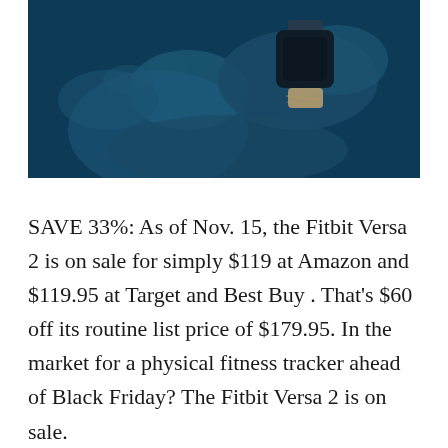[Figure (photo): A close-up photo with a dark blue/teal tint of a person wearing a Fitbit Versa 2 smartwatch on their wrist, with hands overlapping.]
SAVE 33%: As of Nov. 15, the Fitbit Versa 2 is on sale for simply $119 at Amazon and $119.95 at Target and Best Buy . That's $60 off its routine list price of $179.95. In the market for a physical fitness tracker ahead of Black Friday? The Fitbit Versa 2 is on sale.